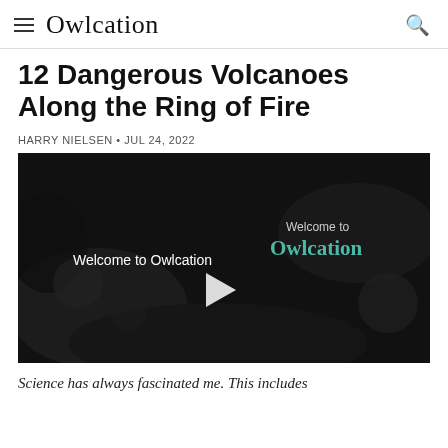Owlcation
12 Dangerous Volcanoes Along the Ring of Fire
HARRY NIELSEN • JUL 24, 2022
[Figure (screenshot): Video thumbnail showing dark rocky volcanic background with text 'Welcome to Owlcation' on the left and 'Welcome to Owlcation' branding on the right with a teal color, and a play button in the center.]
Science has always fascinated me. This includes